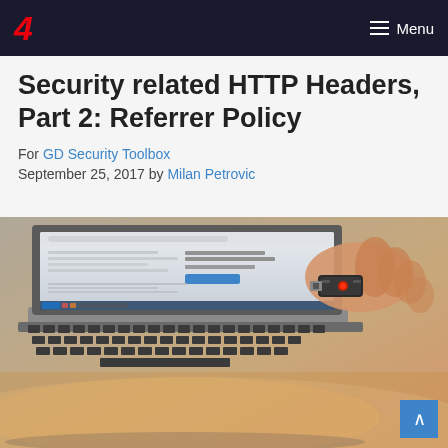4  Menu
Security related HTTP Headers, Part 2: Referrer Policy
For GD Security Toolbox
September 25, 2017 by Milan Petrovic
[Figure (photo): A laptop with a browser open and a person holding a USB security key over the keyboard]